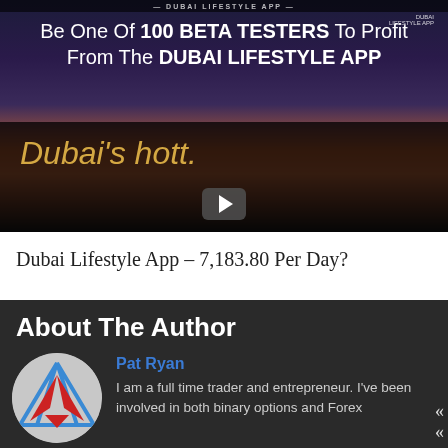[Figure (screenshot): Dubai Lifestyle App promotional banner image with text 'Be One Of 100 BETA TESTERS To Profit From The DUBAI LIFESTYLE APP' and 'Dubai's hott.' on a dark background with a video play button]
Dubai Lifestyle App – 7,183.80 Per Day?
About The Author
[Figure (logo): Circular logo with geometric star/arrow design in red and blue on grey background]
Pat Ryan
I am a full time trader and entrepreneur. I've been involved in both binary options and Forex